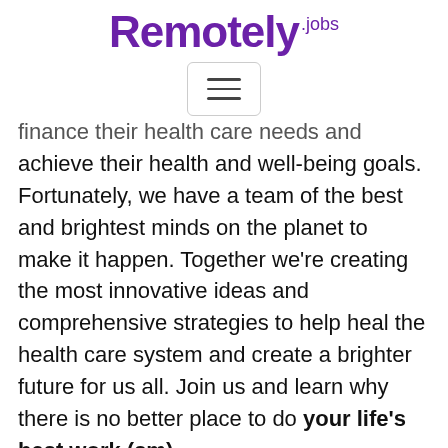Remotely.jobs
[Figure (other): Hamburger menu button with three horizontal lines inside a rounded rectangle border]
finance their health care needs and achieve their health and well-being goals. Fortunately, we have a team of the best and brightest minds on the planet to make it happen. Together we're creating the most innovative ideas and comprehensive strategies to help heal the health care system and create a brighter future for us all. Join us and learn why there is no better place to do your life's best work.(sm) OptumCare is committed to creating an environment where physicians focus on